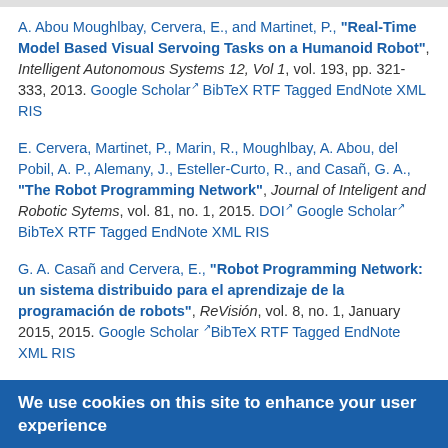A. Abou Moughlbay, Cervera, E., and Martinet, P., "Real-Time Model Based Visual Servoing Tasks on a Humanoid Robot", Intelligent Autonomous Systems 12, Vol 1, vol. 193, pp. 321-333, 2013. Google Scholar BibTeX RTF Tagged EndNote XML RIS
E. Cervera, Martinet, P., Marin, R., Moughlbay, A. Abou, del Pobil, A. P., Alemany, J., Esteller-Curto, R., and Casañ, G. A., "The Robot Programming Network", Journal of Inteligent and Robotic Sytems, vol. 81, no. 1, 2015. DOI Google Scholar BibTeX RTF Tagged EndNote XML RIS
G. A. Casañ and Cervera, E., "Robot Programming Network: un sistema distribuido para el aprendizaje de la programación de robots", ReVisión, vol. 8, no. 1, January 2015, 2015. Google Scholar BibTeX RTF Tagged EndNote XML RIS
G. A. Casañ, Cervera, E., Moughlbay, A. Abou, Alemany, J., and Martinet, P., "ROS-Based Online Robot Programming for Remote Education and Training", in 2015 IEEE International Conference...
We use cookies on this site to enhance your user experience